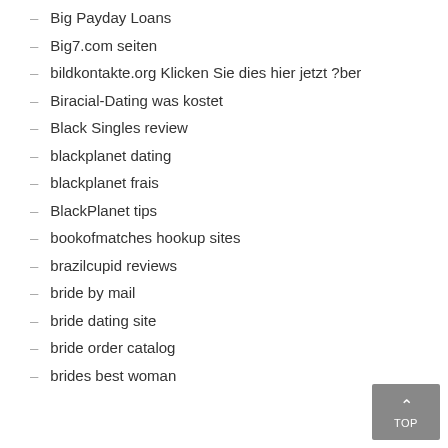Big Payday Loans
Big7.com seiten
bildkontakte.org Klicken Sie dies hier jetzt ?ber
Biracial-Dating was kostet
Black Singles review
blackplanet dating
blackplanet frais
BlackPlanet tips
bookofmatches hookup sites
brazilcupid reviews
bride by mail
bride dating site
bride order catalog
brides best woman